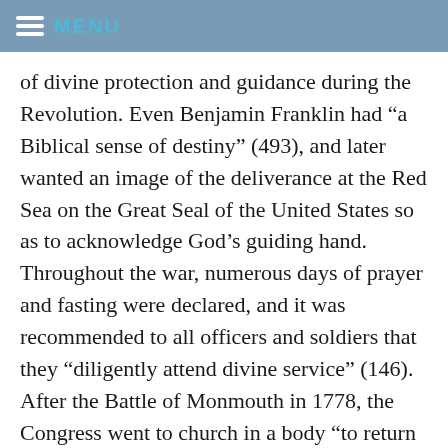MENU
of divine protection and guidance during the Revolution. Even Benjamin Franklin had “a Biblical sense of destiny” (493), and later wanted an image of the deliverance at the Red Sea on the Great Seal of the United States so as to acknowledge God’s guiding hand. Throughout the war, numerous days of prayer and fasting were declared, and it was recommended to all officers and soldiers that they “diligently attend divine service” (146). After the Battle of Monmouth in 1778, the Congress went to church in a body “to return thanks for the divine mercy in supporting the independence of these states” (347). Following the climactic victory over Cornwallis at Yorktown in 1781, services of thanksgiving were held in all the